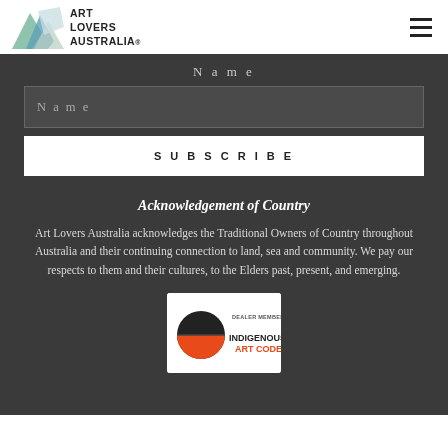Art Lovers Australia
Name
Name (input field placeholder)
SUBSCRIBE
Acknowledgement of Country
Art Lovers Australia acknowledges the Traditional Owners of Country throughout Australia and their continuing connection to land, sea and community. We pay our respects to them and their cultures, to the Elders past, present, and emerging.
[Figure (logo): Indigenous Art Code Dealer Member 2020 badge with black and orange semicircle logo]